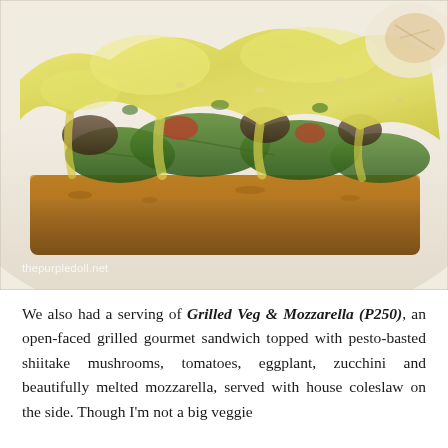[Figure (photo): Close-up photo of a Grilled Veg & Mozzarella open-faced sandwich on bread, topped with melted mozzarella cheese, grilled zucchini, shiitake mushrooms, tomatoes, and eggplant with pesto. Watermark reads 'thepurpledoll.net' in lower left corner.]
We also had a serving of Grilled Veg & Mozzarella (P250), an open-faced grilled gourmet sandwich topped with pesto-basted shiitake mushrooms, tomatoes, eggplant, zucchini and beautifully melted mozzarella, served with house coleslaw on the side. Though I'm not a big veggie